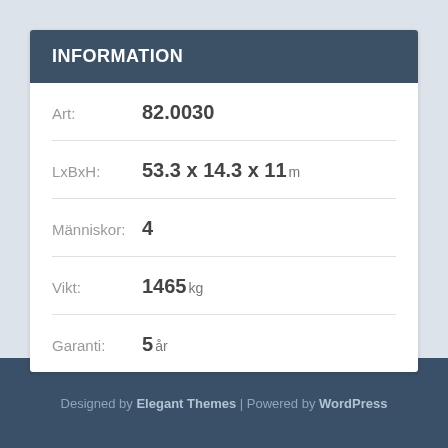INFORMATION
Art: 82.0030
LxBxH: 53.3 x 14.3 x 11 m
Människor: 4
Vikt: 1465 kg
Garanti: 5 år
Designed by Elegant Themes | Powered by WordPress